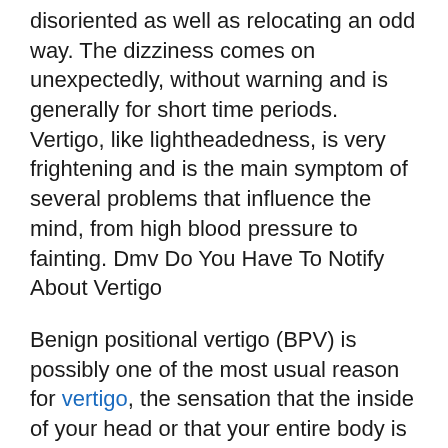disoriented as well as relocating an odd way. The dizziness comes on unexpectedly, without warning and is generally for short time periods. Vertigo, like lightheadedness, is very frightening and is the main symptom of several problems that influence the mind, from high blood pressure to fainting. Dmv Do You Have To Notify About Vertigo
Benign positional vertigo (BPV) is possibly one of the most usual reason for vertigo, the sensation that the inside of your head or that your entire body is revolving oddly. Commonly this is accompanied by light-headedness, nausea or vomiting, vomiting, passing out, as well as a feeling of detachment from your surroundings. BPV